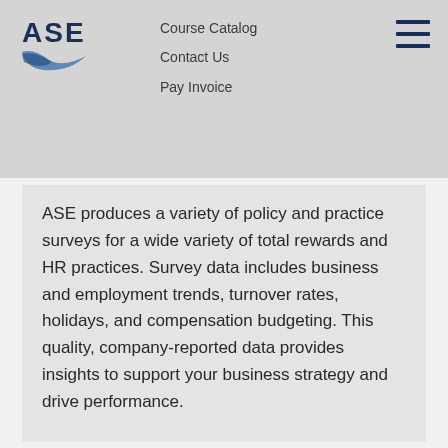Course Catalog | Contact Us | Pay Invoice
[Figure (logo): ASE logo with stylized bird/wing graphic]
ASE produces a variety of policy and practice surveys for a wide variety of total rewards and HR practices. Survey data includes business and employment trends, turnover rates, holidays, and compensation budgeting. This quality, company-reported data provides insights to support your business strategy and drive performance.